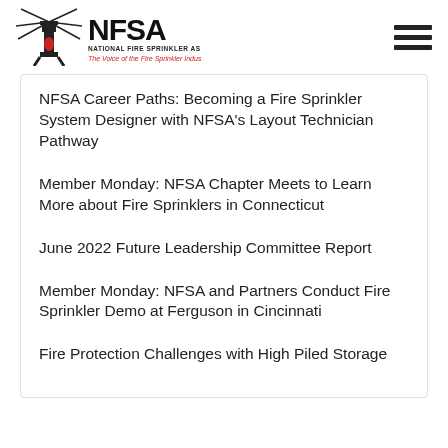[Figure (logo): NFSA National Fire Sprinkler Association logo with tagline 'The Voice of the Fire Sprinkler Industry']
NFSA Career Paths: Becoming a Fire Sprinkler System Designer with NFSA's Layout Technician Pathway
Member Monday: NFSA Chapter Meets to Learn More about Fire Sprinklers in Connecticut
June 2022 Future Leadership Committee Report
Member Monday: NFSA and Partners Conduct Fire Sprinkler Demo at Ferguson in Cincinnati
Fire Protection Challenges with High Piled Storage